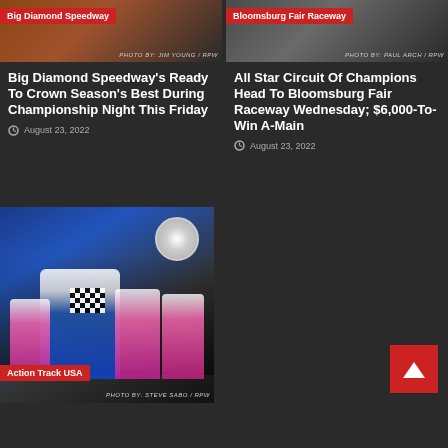[Figure (photo): Racing photo with Big Diamond Speedway label, photo credit Jim Young / RPW]
Big Diamond Speedway's Ready To Crown Season's Best During Championship Night This Friday
August 23, 2022
[Figure (photo): Racing photo with Bloomsburg Fair Raceway label, photo credit Paul Arch / RPW]
All Star Circuit Of Champions Head To Bloomsburg Fair Raceway Wednesday; $6,000-To-Win A-Main
August 23, 2022
[Figure (photo): Victory lane photo with Action Track USA label, photo credit Steve Sabo / RPW. Racing driver in blue uniform holding checkered flag with women in pink tops.]